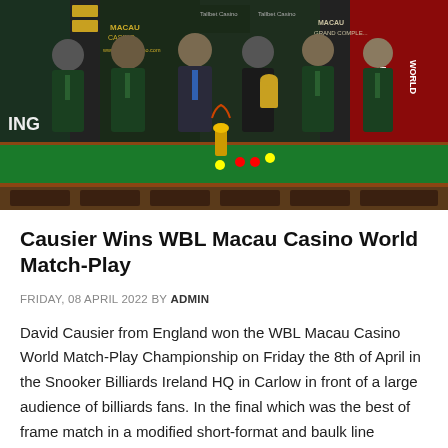[Figure (photo): Group photo of six men standing behind a snooker/billiards table with a trophy. Five men wear dark green blazers with badges, one man in the center wears a dark suit with a blue tie. Casino and billiards-related banners visible in background including Macau Casino and World Billiards branding.]
Causier Wins WBL Macau Casino World Match-Play
FRIDAY, 08 APRIL 2022 BY ADMIN
David Causier from England won the WBL Macau Casino World Match-Play Championship on Friday the 8th of April in the Snooker Billiards Ireland HQ in Carlow in front of a large audience of billiards fans. In the final which was the best of frame match in a modified short-format and baulk line crossing